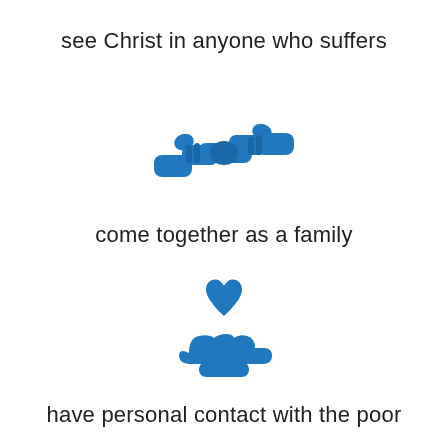see Christ in anyone who suffers
[Figure (illustration): Two hands shaking/clasping in blue icon style]
come together as a family
[Figure (illustration): A hand holding/offering a heart in blue icon style]
have personal contact with the poor